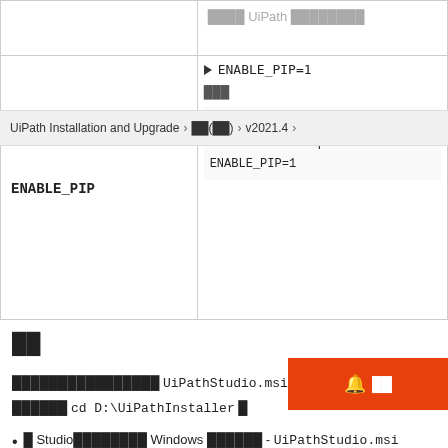|  |  |
| --- | --- |
|  | ████ UiPath ████████ |
| ENABLE_PIP | ▶ ENABLE_PIP=1

███

UiPathStudio.msi ADDLOCAL=DesktopF ENABLE_PIP=1 |
UiPath Installation and Upgrade > ██(██) > v2021.4
██
████████████████ UiPathStudio.msi ████
██████ cd D:\UiPathInstaller █
█ Studio████████ Windows ██████ - UiPathStudio.msi